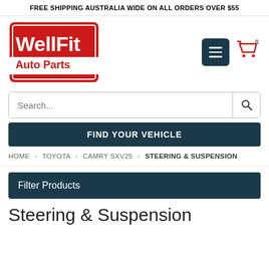FREE SHIPPING AUSTRALIA WIDE ON ALL ORDERS OVER $55
[Figure (logo): WellFit Auto Parts logo — red background with white text 'WellFit' on top and red 'Auto Parts' on white bar below, with white border inset]
Search...
FIND YOUR VEHICLE
HOME › TOYOTA › CAMRY SXV25 › STEERING & SUSPENSION
Filter Products
Steering & Suspension